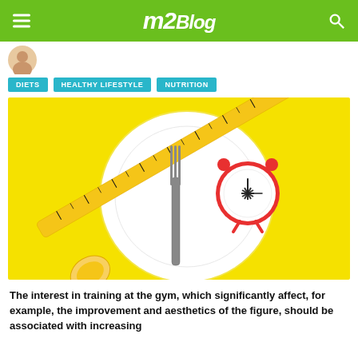m2Blog
[Figure (illustration): Avatar/profile picture thumbnail in top left]
DIETS
HEALTHY LIFESTYLE
NUTRITION
[Figure (photo): Yellow background with white plate containing a fork, a red alarm clock, and a yellow measuring tape arranged as a diet/nutrition concept]
The interest in training at the gym, which significantly affect, for example, the improvement and aesthetics of the figure, should be associated with increasing